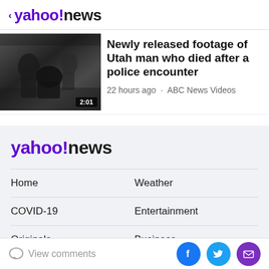< yahoo!news
[Figure (photo): Black and white video thumbnail showing police encounter, duration badge showing 2:01]
Newly released footage of Utah man who died after a police encounter
22 hours ago · ABC News Videos
[Figure (logo): Yahoo News logo in footer area on light grey background]
Home
Weather
COVID-19
Entertainment
Originals
Business
Canada
Sports
View comments